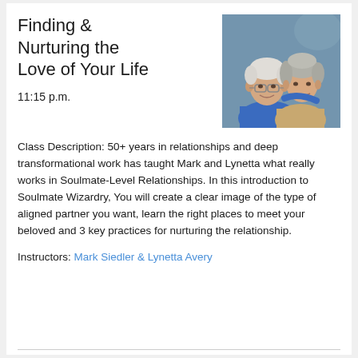Finding & Nurturing the Love of Your Life
[Figure (photo): Photo of an older couple smiling together, man in blue shirt with glasses, woman with grey hair]
11:15 p.m.
Class Description: 50+ years in relationships and deep transformational work has taught Mark and Lynetta what really works in Soulmate-Level Relationships. In this introduction to Soulmate Wizardry, You will create a clear image of the type of aligned partner you want, learn the right places to meet your beloved and 3 key practices for nurturing the relationship.
Instructors: Mark Siedler & Lynetta Avery